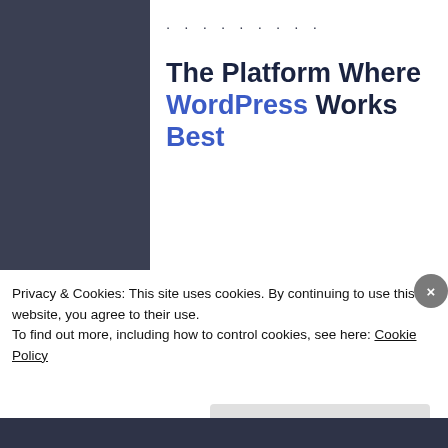[Figure (screenshot): Pressable WordPress hosting advertisement banner with headline 'The Platform Where WordPress Works Best' and a blue 'SEE PRICING' button on white background]
REPORT THIS AD
BLOGS I FOLLOW
Privacy & Cookies: This site uses cookies. By continuing to use this website, you agree to their use.
To find out more, including how to control cookies, see here: Cookie Policy
Close and accept